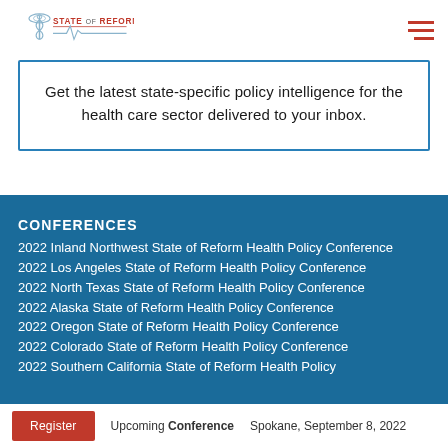[Figure (logo): State of Reform logo with caduceus symbol and red text]
Get the latest state-specific policy intelligence for the health care sector delivered to your inbox.
CONFERENCES
2022 Inland Northwest State of Reform Health Policy Conference
2022 Los Angeles State of Reform Health Policy Conference
2022 North Texas State of Reform Health Policy Conference
2022 Alaska State of Reform Health Policy Conference
2022 Oregon State of Reform Health Policy Conference
2022 Colorado State of Reform Health Policy Conference
2022 Southern California State of Reform Health Policy
Register   Upcoming Conference   Spokane, September 8, 2022